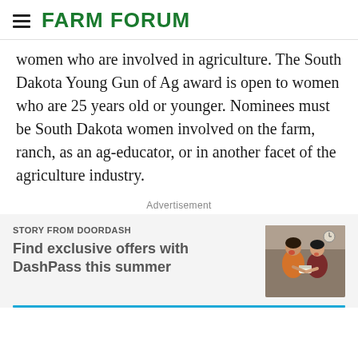FARM FORUM
women who are involved in agriculture. The South Dakota Young Gun of Ag award is open to women who are 25 years old or younger. Nominees must be South Dakota women involved on the farm, ranch, as an ag-educator, or in another facet of the agriculture industry.
Advertisement
STORY FROM DOORDASH
Find exclusive offers with DashPass this summer
[Figure (photo): Two women laughing and sharing food together indoors]